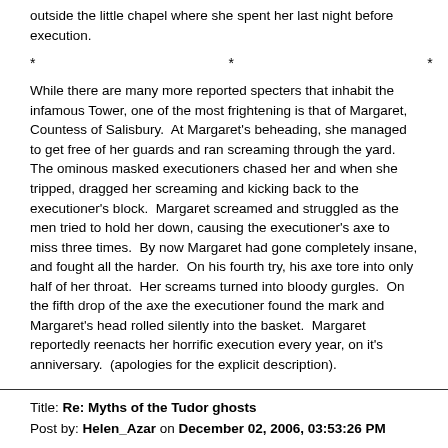outside the little chapel where she spent her last night before execution.
*        *        *
While there are many more reported specters that inhabit the infamous Tower, one of the most frightening is that of Margaret, Countess of Salisbury.  At Margaret's beheading, she managed to get free of her guards and ran screaming through the yard.  The ominous masked executioners chased her and when she tripped, dragged her screaming and kicking back to the executioner's block.  Margaret screamed and struggled as the men tried to hold her down, causing the executioner's axe to miss three times.  By now Margaret had gone completely insane, and fought all the harder.  On his fourth try, his axe tore into only half of her throat.  Her screams turned into bloody gurgles.  On the fifth drop of the axe the executioner found the mark and Margaret's head rolled silently into the basket.  Margaret reportedly reenacts her horrific execution every year, on it's anniversary.  (apologies for the explicit description).
Title: Re: Myths of the Tudor ghosts
Post by: Helen_Azar on December 02, 2006, 03:53:26 PM